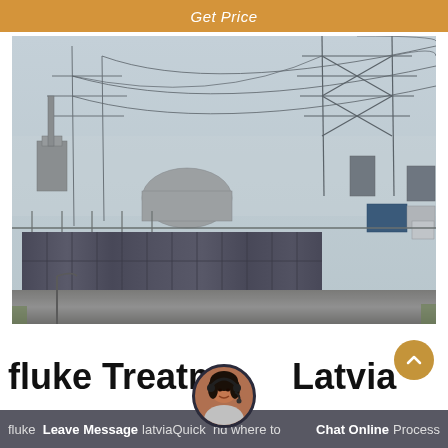Get Price
[Figure (photo): Outdoor industrial electrical substation or power plant facility in foggy/rainy weather. Shows transformer cylinders/tanks stacked in rows, high-voltage transmission towers and cable structures, metal fencing, and a concrete ground surface. Grey overcast sky.]
fluke Treatment Latvia
fluke  Leave Message  latviaQuick  nd where to  Chat Online  Process
[Figure (photo): Chat support avatar - woman wearing headset microphone, customer service representative]